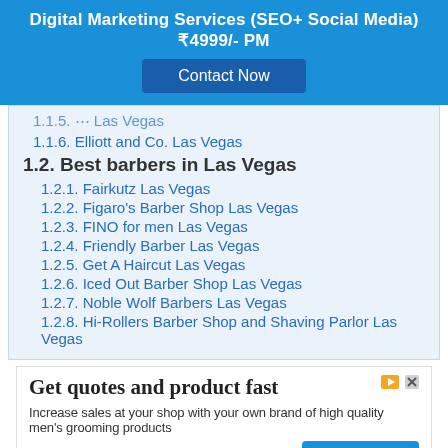[Figure (infographic): Blue banner ad for Digital Marketing Services (SEO+ Social Media) ₹4999/- PM with a Contact Now button]
1.1.6. Elliott and Co. Las Vegas
1.2. Best barbers in Las Vegas
1.2.1. Fairkutz Las Vegas
1.2.2. Figaro's Barber Shop Las Vegas
1.2.3. FINO for men Las Vegas
1.2.4. Friendly Barber Las Vegas
1.2.5. Get A Haircut Las Vegas
1.2.6. Iced Out Barber Shop Las Vegas
1.2.7. Noble Wolf Barbers Las Vegas
1.2.8. Hi-Rollers Barber Shop and Shaving Parlor Las Vegas
[Figure (infographic): Ad banner: Get quotes and product fast. Increase sales at your shop with your own brand of high quality men's grooming products. privatelabelmensgrooming.com with Learn More button.]